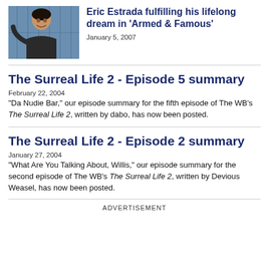[Figure (photo): Photo of Eric Estrada smiling, standing in front of blue lockers, wearing a dark jacket]
Eric Estrada fulfilling his lifelong dream in 'Armed & Famous'
January 5, 2007
The Surreal Life 2 - Episode 5 summary
February 22, 2004
"Da Nudie Bar," our episode summary for the fifth episode of The WB's The Surreal Life 2, written by dabo, has now been posted.
The Surreal Life 2 - Episode 2 summary
January 27, 2004
"What Are You Talking About, Willis," our episode summary for the second episode of The WB's The Surreal Life 2, written by Devious Weasel, has now been posted.
ADVERTISEMENT